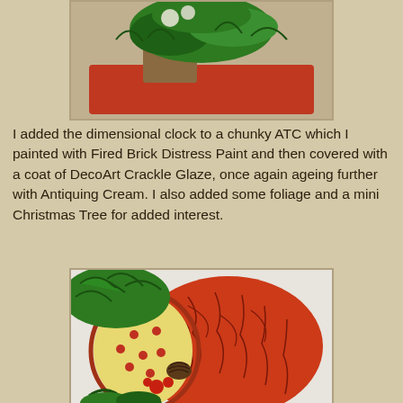[Figure (photo): A chunky ATC (Artist Trading Card) painted red with foliage and a mini Christmas tree on top, viewed from above at slight angle.]
I added the dimensional clock to a chunky ATC which I painted with Fired Brick Distress Paint and then covered with a coat of DecoArt Crackle Glaze, once again ageing further with Antiquing Cream. I also added some foliage and a mini Christmas Tree for added interest.
[Figure (photo): Close-up of an oval/egg-shaped ATC with crackled red-orange paint texture, holly leaves, red berries, pinecones and green foliage decoration.]